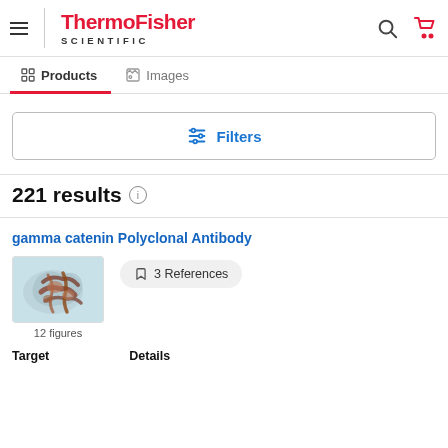[Figure (screenshot): ThermoFisher Scientific website header with hamburger menu, logo, search and cart icons]
Products   Images
[Figure (other): Filters button with sliders icon]
221 results
gamma catenin Polyclonal Antibody
[Figure (photo): Microscopy image showing gamma catenin staining, brown tissue on light blue background]
12 figures
3 References
Target   Details